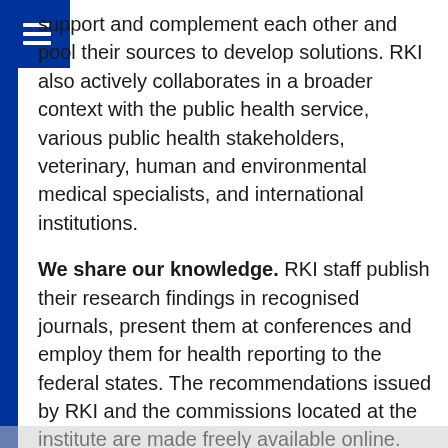support and complement each other and pool their sources to develop solutions. RKI also actively collaborates in a broader context with the public health service, various public health stakeholders, veterinary, human and environmental medical specialists, and international institutions.
We share our knowledge. RKI staff publish their research findings in recognised journals, present them at conferences and employ them for health reporting to the federal states. The recommendations issued by RKI and the commissions located at the institute are made freely available online. The general public is also regularly informed about RKI activities. We are committed to promoting global access to knowledge and we share our methods and data with international partners. In every sector of the institute, RKI trains junior researchers: our scientists mentor bachelor's, master's and doctoral